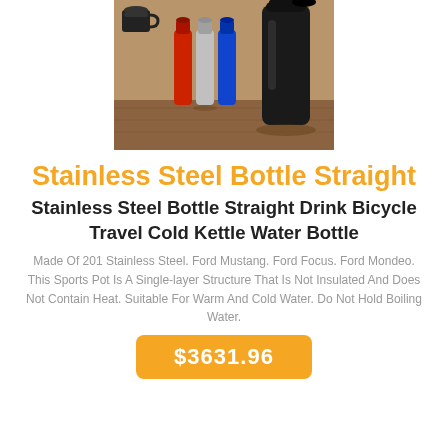[Figure (photo): Product photo showing multiple stainless steel water bottles in various colors (red, silver, blue, black) along with a black mug, arranged on a wooden surface. A large black cylindrical bottle is prominent on the right.]
Stainless Steel Bottle Straight
Stainless Steel Bottle Straight Drink Bicycle Travel Cold Kettle Water Bottle
Made Of 201 Stainless Steel. Ford Mustang. Ford Focus. Ford Mondeo. This Sports Pot Is A Single-layer Structure That Is Not Insulated And Does Not Contain Heat. Suitable For Warm And Cold Water. Do Not Hold Boiling Water.
$3631.96